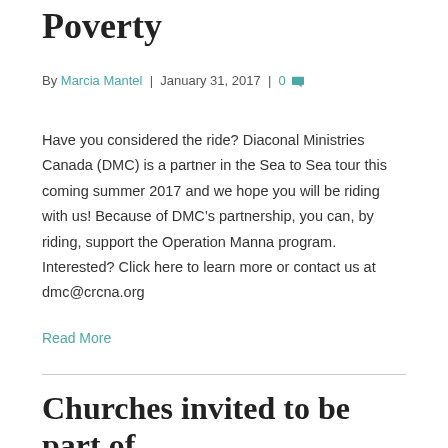Poverty
By Marcia Mantel | January 31, 2017 | 0
Have you considered the ride? Diaconal Ministries Canada (DMC) is a partner in the Sea to Sea tour this coming summer 2017 and we hope you will be riding with us! Because of DMC’s partnership, you can, by riding, support the Operation Manna program. Interested? Click here to learn more or contact us at dmc@crcna.org
Read More
Churches invited to be part of